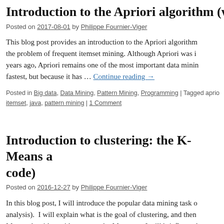Introduction to the Apriori algorithm (with...
Posted on 2017-08-01 by Philippe Fournier-Viger
This blog post provides an introduction to the Apriori algorithm... the problem of frequent itemset mining. Although Apriori was i... years ago, Apriori remains one of the most important data minin... fastest, but because it has … Continue reading →
Posted in Big data, Data Mining, Pattern Mining, Programming | Tagged aprio... itemset, java, pattern mining | 1 Comment
Introduction to clustering: the K-Means a... code)
Posted on 2016-12-27 by Philippe Fournier-Viger
In this blog post, I will introduce the popular data mining task o... analysis). I will explain what is the goal of clustering, and then ... Means algorithm with an example. Moreover, I will briefly expl... implementation of … Continue reading →